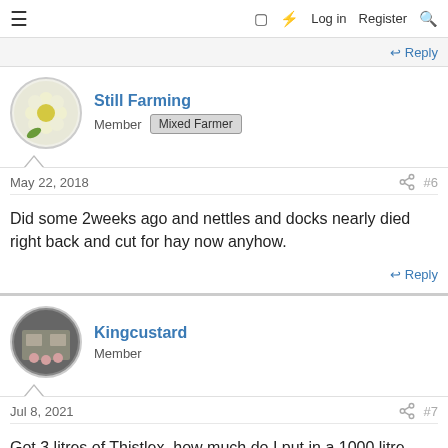≡  □  ⚡  Log in  Register  🔍
↩ Reply
Still Farming
Member  Mixed Farmer
May 22, 2018  #6
Did some 2weeks ago and nettles and docks nearly died right back and cut for hay now anyhow.
↩ Reply
Kingcustard
Member
Jul 8, 2021  #7
Got 3 litres of Thistlex, how much do I put in a 1000 litre sprayer